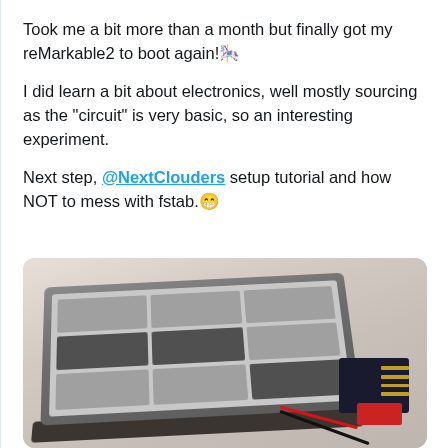Took me a bit more than a month but finally got my reMarkable2 to boot again! 🌟
I did learn a bit about electronics, well mostly sourcing as the "circuit" is very basic, so an interesting experiment.
Next step, @NextClouders setup tutorial and how NOT to mess with fstab. 😁
[Figure (photo): Photo of a reMarkable2 e-ink tablet lying flat on a light surface, with a small red circuit board and black connector with wires attached to its side]